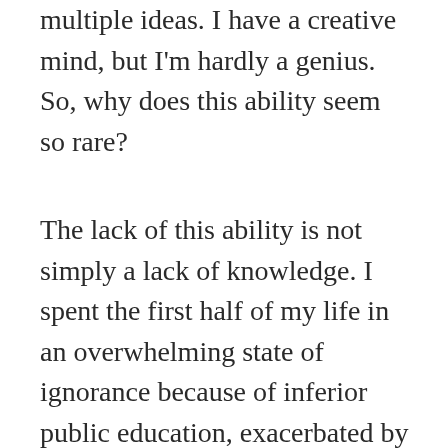multiple ideas. I have a creative mind, but I'm hardly a genius. So, why does this ability seem so rare?
The lack of this ability is not simply a lack of knowledge. I spent the first half of my life in an overwhelming state of ignorance because of inferior public education, exacerbated by a learning disability and depression. But I always had the ability of divergent thinking. It's just hard to do much with divergent thinking without greater knowledge to work with. I've since then remedied my state of ignorance with an extensive program of self-education.